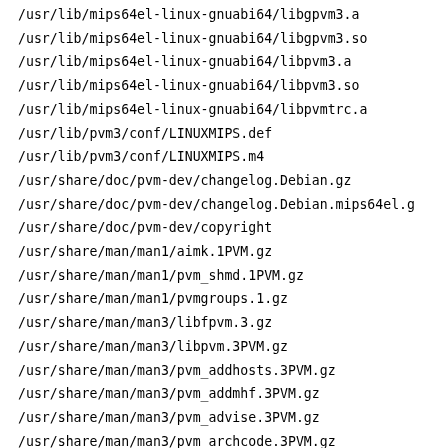/usr/lib/mips64el-linux-gnuabi64/libgpvm3.a
/usr/lib/mips64el-linux-gnuabi64/libgpvm3.so
/usr/lib/mips64el-linux-gnuabi64/libpvm3.a
/usr/lib/mips64el-linux-gnuabi64/libpvm3.so
/usr/lib/mips64el-linux-gnuabi64/libpvmtrc.a
/usr/lib/pvm3/conf/LINUXMIPS.def
/usr/lib/pvm3/conf/LINUXMIPS.m4
/usr/share/doc/pvm-dev/changelog.Debian.gz
/usr/share/doc/pvm-dev/changelog.Debian.mips64el.g
/usr/share/doc/pvm-dev/copyright
/usr/share/man/man1/aimk.1PVM.gz
/usr/share/man/man1/pvm_shmd.1PVM.gz
/usr/share/man/man1/pvmgroups.1.gz
/usr/share/man/man3/libfpvm.3.gz
/usr/share/man/man3/libpvm.3PVM.gz
/usr/share/man/man3/pvm_addhosts.3PVM.gz
/usr/share/man/man3/pvm_addmhf.3PVM.gz
/usr/share/man/man3/pvm_advise.3PVM.gz
/usr/share/man/man3/pvm_archcode.3PVM.gz
/usr/share/man/man3/pvm_barrier.3PVM.gz
/usr/share/man/man3/pvm_bcast.3PVM.gz
/usr/share/man/man3/pvm_bufinfo.3PVM.gz
/usr/share/man/man3/pvm_catchout.3PVM.gz